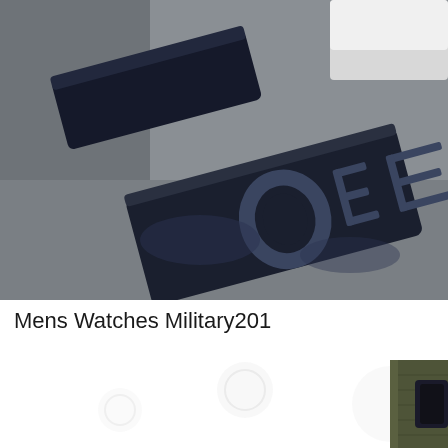[Figure (photo): Close-up photo of a black military watch buckle/clasp with embossed letters visible on a grey background, cropped and slightly blurred]
Mens Watches Military201
[Figure (photo): Partially visible photo of a military watch on white background, with olive/dark green strap visible at right edge]